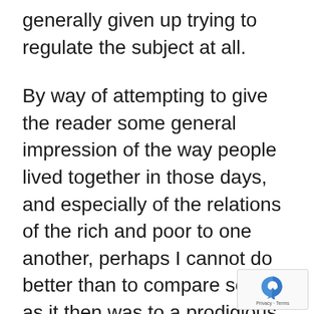generally given up trying to regulate the subject at all.
By way of attempting to give the reader some general impression of the way people lived together in those days, and especially of the relations of the rich and poor to one another, perhaps I cannot do better than to compare society as it then was to a prodigious coach which the masses of humanity were harnessed to and dragged toilsomely along a very hilly and sandy road. The driver was hunger, and permitted no lagging, though the pace was necessarily very